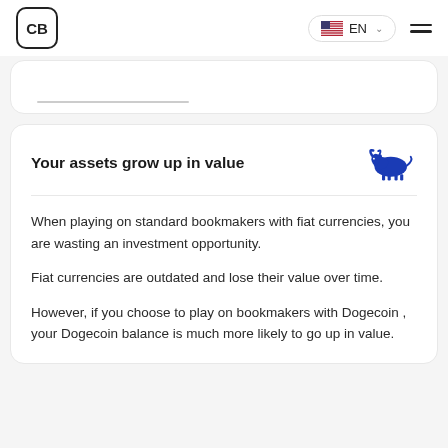CB | EN
Your assets grow up in value
When playing on standard bookmakers with fiat currencies, you are wasting an investment opportunity.
Fiat currencies are outdated and lose their value over time.
However, if you choose to play on bookmakers with Dogecoin , your Dogecoin balance is much more likely to go up in value.